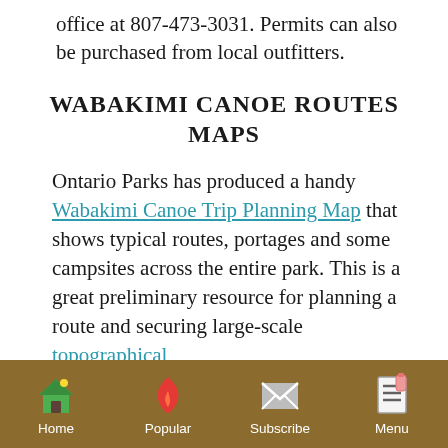office at 807-473-3031. Permits can also be purchased from local outfitters.
WABAKIMI CANOE ROUTES MAPS
Ontario Parks has produced a handy Wabakimi Canoe Trip Planning Map that shows typical routes, portages and some campsites across the entire park. This is a great preliminary resource for planning a route and securing large-scale topographical
Home | Popular | Subscribe | Menu